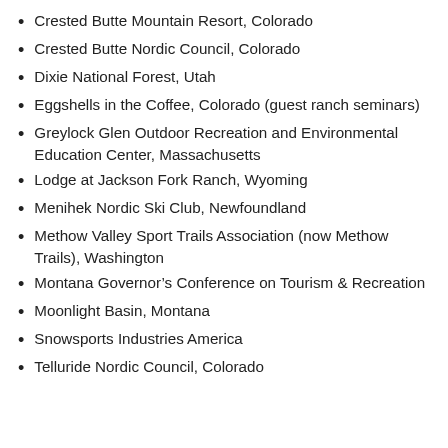Crested Butte Mountain Resort, Colorado
Crested Butte Nordic Council, Colorado
Dixie National Forest, Utah
Eggshells in the Coffee, Colorado (guest ranch seminars)
Greylock Glen Outdoor Recreation and Environmental Education Center, Massachusetts
Lodge at Jackson Fork Ranch, Wyoming
Menihek Nordic Ski Club, Newfoundland
Methow Valley Sport Trails Association (now Methow Trails), Washington
Montana Governor’s Conference on Tourism & Recreation
Moonlight Basin, Montana
Snowsports Industries America
Telluride Nordic Council, Colorado